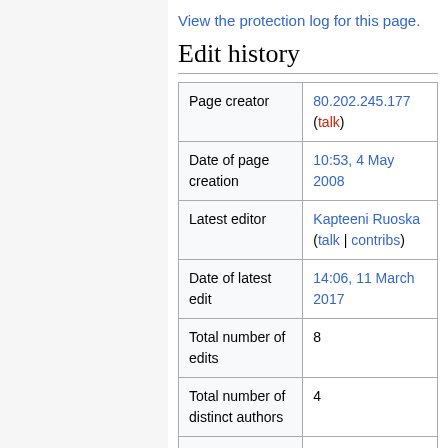View the protection log for this page.
Edit history
|  |  |
| --- | --- |
| Page creator | 80.202.245.177 (talk) |
| Date of page creation | 10:53, 4 May 2008 |
| Latest editor | Kapteeni Ruoska (talk | contribs) |
| Date of latest edit | 14:06, 11 March 2017 |
| Total number of edits | 8 |
| Total number of distinct authors | 4 |
| Recent number of edits (within | 0 |